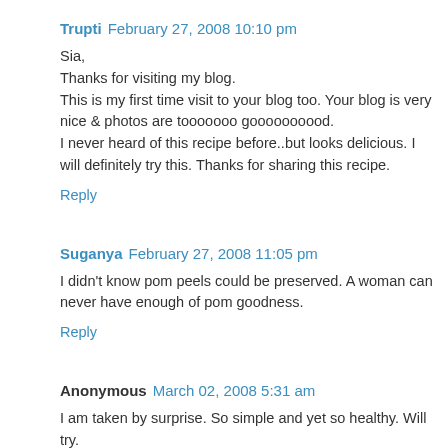Trupti February 27, 2008 10:10 pm
Sia,
Thanks for visiting my blog.
This is my first time visit to your blog too. Your blog is very nice & photos are tooooooo goooooooood.
I never heard of this recipe before..but looks delicious. I will definitely try this. Thanks for sharing this recipe.
Reply
Suganya February 27, 2008 11:05 pm
I didn't know pom peels could be preserved. A woman can never have enough of pom goodness.
Reply
Anonymous March 02, 2008 5:31 am
I am taken by surprise. So simple and yet so healthy. Will try.